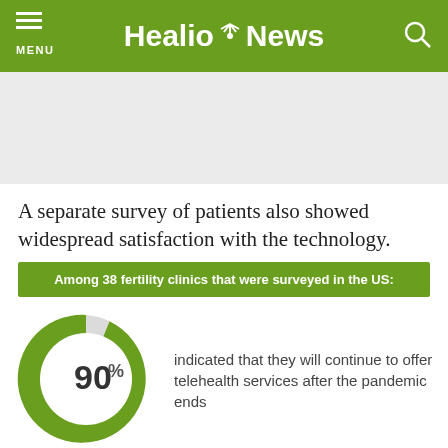Healio News
A separate survey of patients also showed widespread satisfaction with the technology.
Among 38 fertility clinics that were surveyed in the US:
[Figure (donut-chart): 90%]
indicated that they will continue to offer telehealth services after the pandemic ends